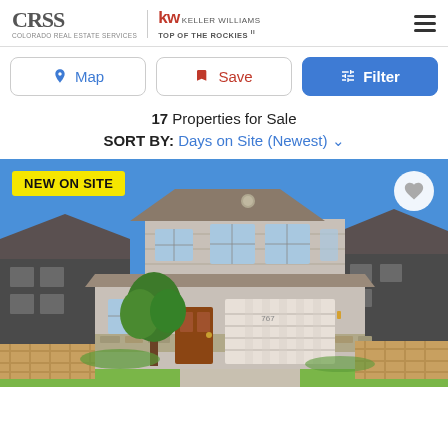CRSS | KW KELLER WILLIAMS TOP OF THE ROCKIES
Map | Save | Filter
17 Properties for Sale
SORT BY: Days on Site (Newest)
[Figure (photo): Two-story residential home with gray siding, white garage door, brown front door, and trees in front. Neighboring dark-colored homes visible on each side. Blue sky background. 'NEW ON SITE' badge in yellow at top left, heart button at top right.]